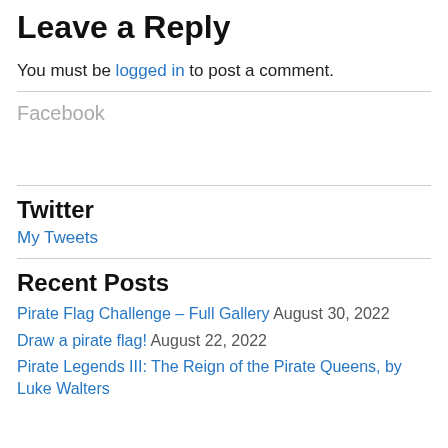Leave a Reply
You must be logged in to post a comment.
Facebook
Twitter
My Tweets
Recent Posts
Pirate Flag Challenge – Full Gallery August 30, 2022
Draw a pirate flag! August 22, 2022
Pirate Legends III: The Reign of the Pirate Queens, by Luke Walters